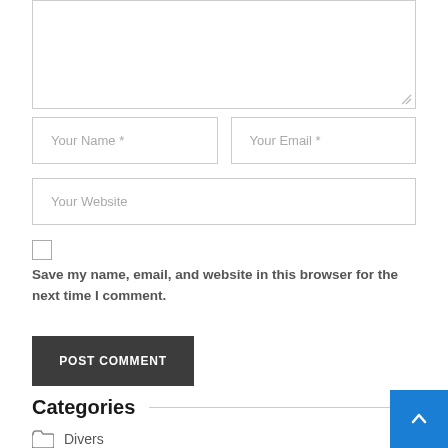[Figure (screenshot): Textarea input box (partially visible, top of page)]
Your Name *
Your Email *
Your Website
Save my name, email, and website in this browser for the next time I comment.
POST COMMENT
Categories
Divers